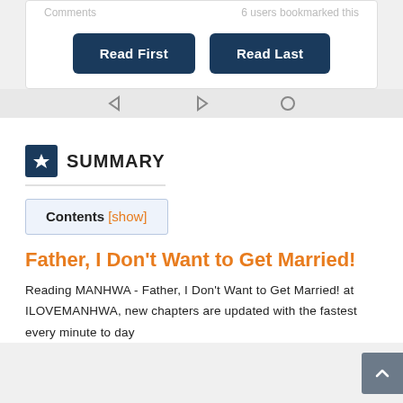Comments | 6 users bookmarked this
Read First | Read Last
SUMMARY
Contents [show]
Father, I Don't Want to Get Married!
Reading MANHWA - Father, I Don't Want to Get Married! at ILOVEMANHWA, new chapters are updated with the fastest every minute to day